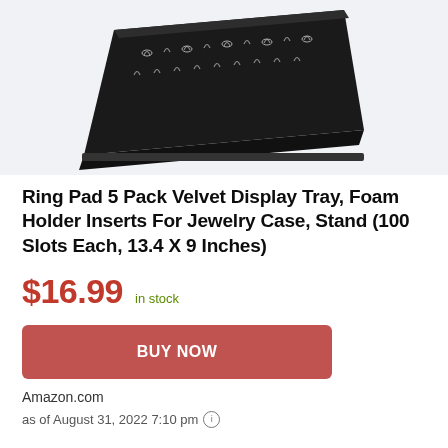[Figure (photo): Black velvet ring display tray with slots for rings, shown at an angle against a light gray background]
Ring Pad 5 Pack Velvet Display Tray, Foam Holder Inserts For Jewelry Case, Stand (100 Slots Each, 13.4 X 9 Inches)
$16.99  in stock
BUY NOW
Amazon.com
as of August 31, 2022 7:10 pm ℹ